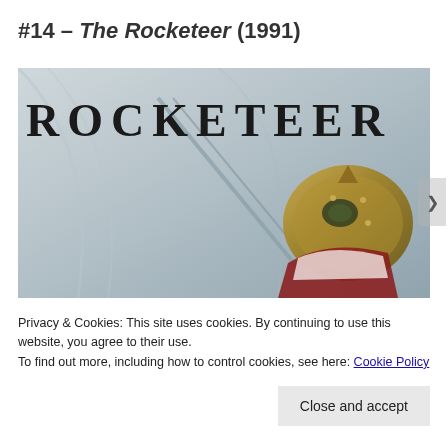#14 – The Rocketeer (1991)
[Figure (photo): Movie poster/banner image for The Rocketeer (1991). Shows the stylized art deco title text 'ROCKETEER' at the top in black on a gray fabric background, with a golden rocket helmet/suit visible in the lower right portion of the image.]
Privacy & Cookies: This site uses cookies. By continuing to use this website, you agree to their use.
To find out more, including how to control cookies, see here: Cookie Policy
Close and accept